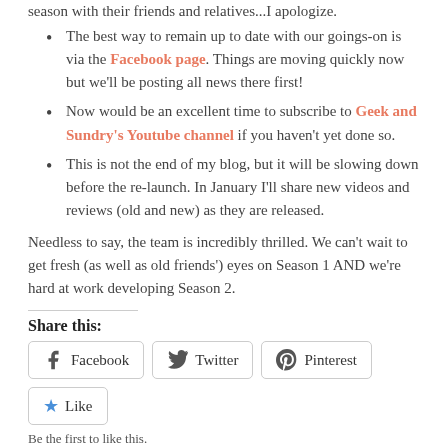season with their friends and relatives...I apologize.
The best way to remain up to date with our goings-on is via the Facebook page. Things are moving quickly now but we'll be posting all news there first!
Now would be an excellent time to subscribe to Geek and Sundry's Youtube channel if you haven't yet done so.
This is not the end of my blog, but it will be slowing down before the re-launch. In January I'll share new videos and reviews (old and new) as they are released.
Needless to say, the team is incredibly thrilled. We can't wait to get fresh (as well as old friends') eyes on Season 1 AND we're hard at work developing Season 2.
Share this:
Facebook  Twitter  Pinterest
Like
Be the first to like this.